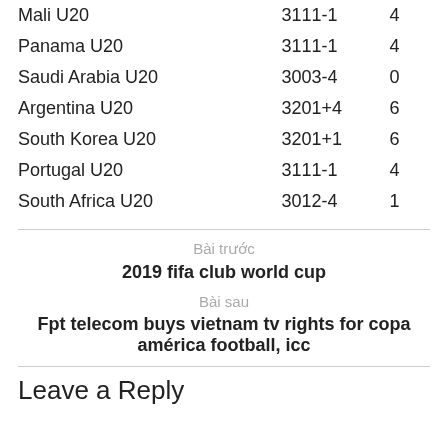| Team | Record | Pts |
| --- | --- | --- |
| Mali U20 | 3111-1 | 4 |
| Panama U20 | 3111-1 | 4 |
| Saudi Arabia U20 | 3003-4 | 0 |
| Argentina U20 | 3201+4 | 6 |
| South Korea U20 | 3201+1 | 6 |
| Portugal U20 | 3111-1 | 4 |
| South Africa U20 | 3012-4 | 1 |
Bài trước
2019 fifa club world cup
Bài sau
Fpt telecom buys vietnam tv rights for copa américa football, icc
Leave a Reply